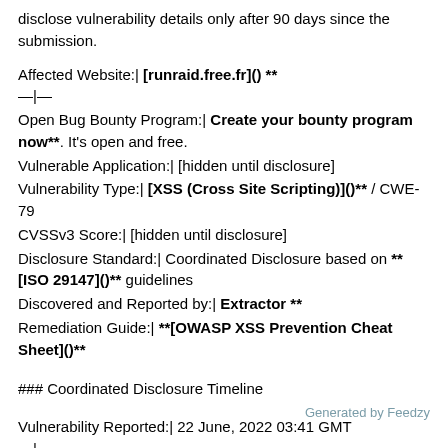disclose vulnerability details only after 90 days since the submission.
Affected Website:| **[runraid.free.fr]() **
—|—
Open Bug Bounty Program:| **Create your bounty program now**. It's open and free.
Vulnerable Application:| [hidden until disclosure]
Vulnerability Type:| **[XSS (Cross Site Scripting)]()** / CWE-79
CVSSv3 Score:| [hidden until disclosure]
Disclosure Standard:| Coordinated Disclosure based on **[ISO 29147]()** guidelines
Discovered and Reported by:| **Extractor **
Remediation Guide:| **[OWASP XSS Prevention Cheat Sheet]()**
### Coordinated Disclosure Timeline
Vulnerability Reported:| 22 June, 2022 03:41 GMT
—|—
Vulnerability Verified:| 22 June, 2022 03:48 GMT
Generated by Feedzy